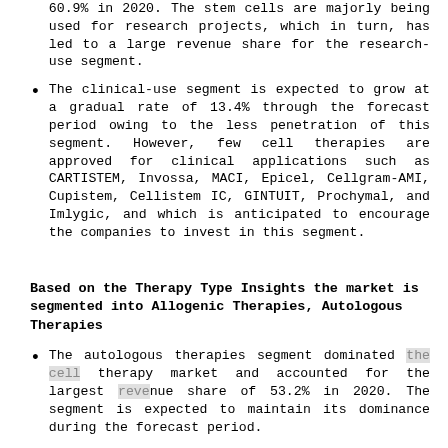60.9% in 2020. The stem cells are majorly being used for research projects, which in turn, has led to a large revenue share for the research-use segment.
The clinical-use segment is expected to grow at a gradual rate of 13.4% through the forecast period owing to the less penetration of this segment. However, few cell therapies are approved for clinical applications such as CARTISTEM, Invossa, MACI, Epicel, Cellgram-AMI, Cupistem, Cellistem IC, GINTUIT, Prochymal, and Imlygic, and which is anticipated to encourage the companies to invest in this segment.
Based on the Therapy Type Insights the market is segmented into Allogenic Therapies, Autologous Therapies
The autologous therapies segment dominated the cell therapy market and accounted for the largest revenue share of 53.2% in 2020. The segment is expected to maintain its dominance during the forecast period.